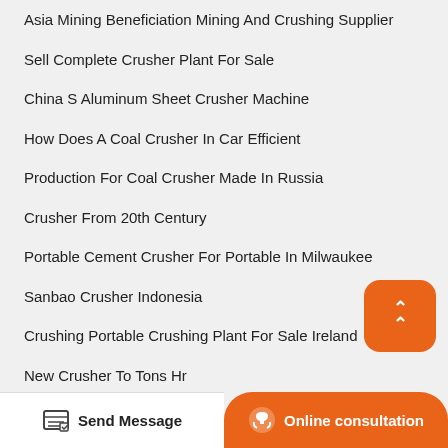Asia Mining Beneficiation Mining And Crushing Supplier
Sell Complete Crusher Plant For Sale
China S Aluminum Sheet Crusher Machine
How Does A Coal Crusher In Car Efficient
Production For Coal Crusher Made In Russia
Crusher From 20th Century
Portable Cement Crusher For Portable In Milwaukee
Sanbao Crusher Indonesia
Crushing Portable Crushing Plant For Sale Ireland
New Crusher To Tons Hr
Portable Vsi Crusher For Sale In Egypt
Shanghai Crusher Parts
[Figure (illustration): Orange rounded square button with white upward chevron arrows (back to top button)]
[Figure (illustration): Bottom bar with Send Message button (left, white) and Online consultation button (right, orange with headset icon)]